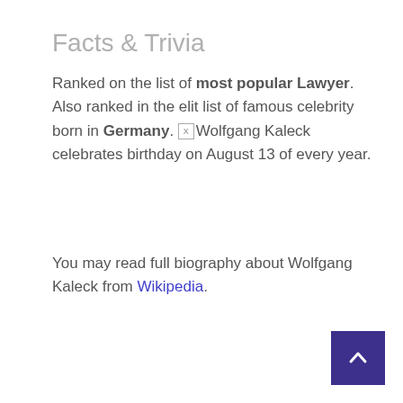Facts & Trivia
Ranked on the list of most popular Lawyer. Also ranked in the elit list of famous celebrity born in Germany. Wolfgang Kaleck celebrates birthday on August 13 of every year.
You may read full biography about Wolfgang Kaleck from Wikipedia.